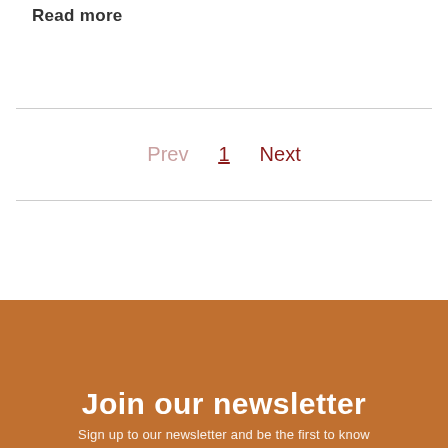Read more
Prev  1  Next
Join our newsletter
Sign up to our newsletter and be the first to know